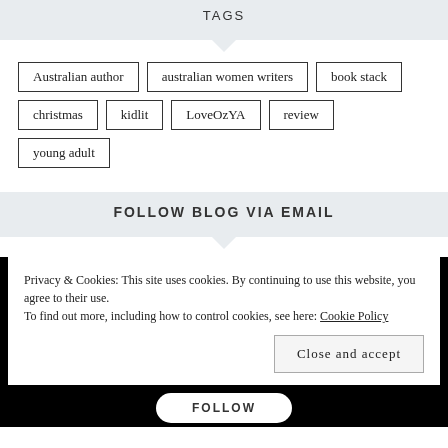TAGS
Australian author
australian women writers
book stack
christmas
kidlit
LoveOzYA
review
young adult
FOLLOW BLOG VIA EMAIL
Privacy & Cookies: This site uses cookies. By continuing to use this website, you agree to their use. To find out more, including how to control cookies, see here: Cookie Policy
Close and accept
FOLLOW